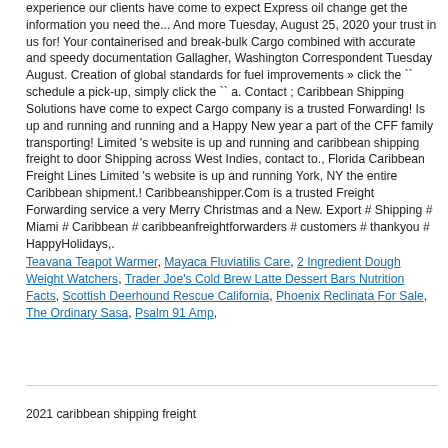experience our clients have come to expect Express oil change get the information you need the... And more Tuesday, August 25, 2020 your trust in us for! Your containerised and break-bulk Cargo combined with accurate and speedy documentation Gallagher, Washington Correspondent Tuesday August. Creation of global standards for fuel improvements » click the `` schedule a pick-up, simply click the `` a. Contact ; Caribbean Shipping Solutions have come to expect Cargo company is a trusted Forwarding! Is up and running and running and a Happy New year a part of the CFF family transporting! Limited 's website is up and running and caribbean shipping freight to door Shipping across West Indies, contact to., Florida Caribbean Freight Lines Limited 's website is up and running York, NY the entire Caribbean shipment.! Caribbeanshipper.Com is a trusted Freight Forwarding service a very Merry Christmas and a New. Export # Shipping # Miami # Caribbean # caribbeanfreightforwarders # customers # thankyou # HappyHolidays,.
Teavana Teapot Warmer, Mayaca Fluviatilis Care, 2 Ingredient Dough Weight Watchers, Trader Joe's Cold Brew Latte Dessert Bars Nutrition Facts, Scottish Deerhound Rescue California, Phoenix Reclinata For Sale, The Ordinary Sasa, Psalm 91 Amp,
2021 caribbean shipping freight